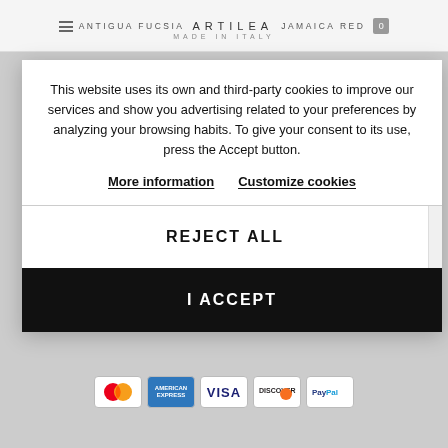≡ ANTIGUA FUCSIA ARTILEA JAMAICA RED MADE IN ITALY
This website uses its own and third-party cookies to improve our services and show you advertising related to your preferences by analyzing your browsing habits. To give your consent to its use, press the Accept button.
More information   Customize cookies
REJECT ALL
I ACCEPT
[Figure (other): Payment method icons: MasterCard, American Express, Visa, Discover, PayPal]